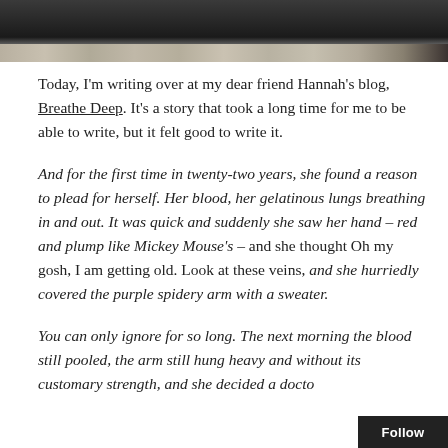[Figure (photo): Dark photograph showing a stone or brick path/pavement at the top of the page, cropped to a horizontal strip.]
Today, I'm writing over at my dear friend Hannah's blog, Breathe Deep. It's a story that took a long time for me to be able to write, but it felt good to write it.
And for the first time in twenty-two years, she found a reason to plead for herself. Her blood, her gelatinous lungs breathing in and out. It was quick and suddenly she saw her hand – red and plump like Mickey Mouse's – and she thought Oh my gosh, I am getting old. Look at these veins, and she hurriedly covered the purple spidery arm with a sweater.
You can only ignore for so long. The next morning the blood still pooled, the arm still hung heavy and without its customary strength, and she decided a docto